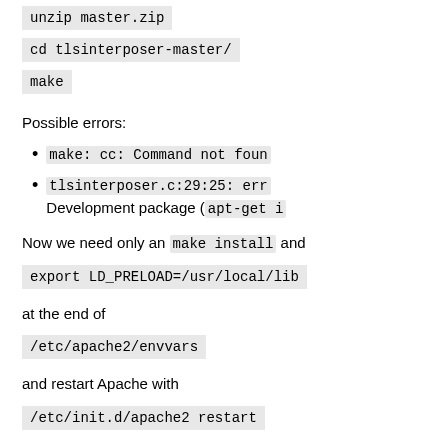unzip master.zip
cd tlsinterposer-master/
make
Possible errors:
make: cc: Command not foun
tlsinterposer.c:29:25: err Development package (apt-get i
Now we need only an make install and
export LD_PRELOAD=/usr/local/lib
at the end of
/etc/apache2/envvars
and restart Apache with
/etc/init.d/apache2 restart
And you get